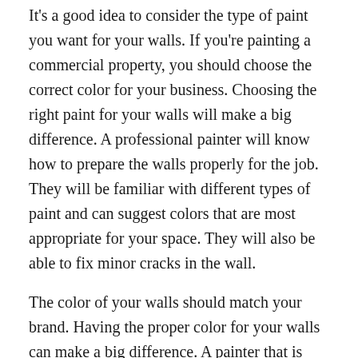It's a good idea to consider the type of paint you want for your walls. If you're painting a commercial property, you should choose the correct color for your business. Choosing the right paint for your walls will make a big difference. A professional painter will know how to prepare the walls properly for the job. They will be familiar with different types of paint and can suggest colors that are most appropriate for your space. They will also be able to fix minor cracks in the wall.
The color of your walls should match your brand. Having the proper color for your walls can make a big difference. A painter that is experienced with commercial properties will have the experience to match the paint on your walls. They will also provide you with tips and advice to help you choose the right color for your business. A